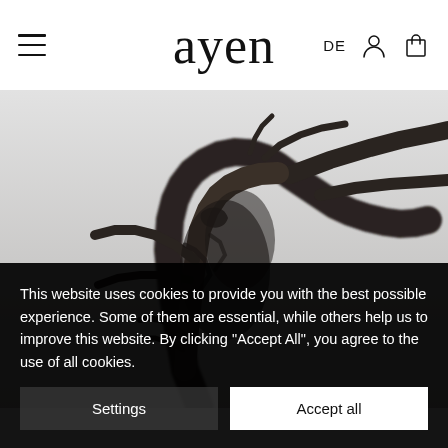ayen — DE [user icon] [cart icon]
[Figure (photo): Black and white photograph of a gnarled, dead tree trunk with twisted branches against a light grey sky, resembling a bird or dragon shape.]
This website uses cookies to provide you with the best possible experience. Some of them are essential, while others help us to improve this website. By clicking "Accept All", you agree to the use of all cookies.
Settings | Accept all